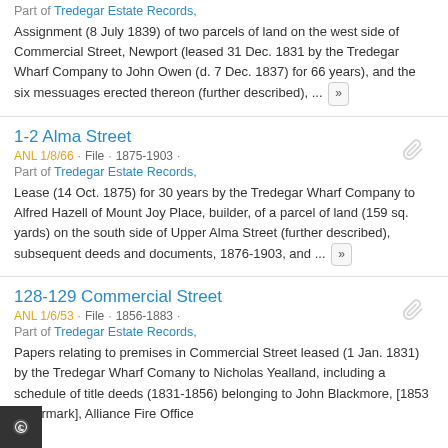Part of Tredegar Estate Records, Assignment (8 July 1839) of two parcels of land on the west side of Commercial Street, Newport (leased 31 Dec. 1831 by the Tredegar Wharf Company to John Owen (d. 7 Dec. 1837) for 66 years), and the six messuages erected thereon (further described), ...
1-2 Alma Street
ANL 1/8/66 · File · 1875-1903 · Part of Tredegar Estate Records, Lease (14 Oct. 1875) for 30 years by the Tredegar Wharf Company to Alfred Hazell of Mount Joy Place, builder, of a parcel of land (159 sq. yards) on the south side of Upper Alma Street (further described), subsequent deeds and documents, 1876-1903, and ...
128-129 Commercial Street
ANL 1/6/53 · File · 1856-1883 · Part of Tredegar Estate Records, Papers relating to premises in Commercial Street leased (1 Jan. 1831) by the Tredegar Wharf Comany to Nicholas Yealland, including a schedule of title deeds (1831-1856) belonging to John Blackmore, [1853 watermark], Alliance Fire Office